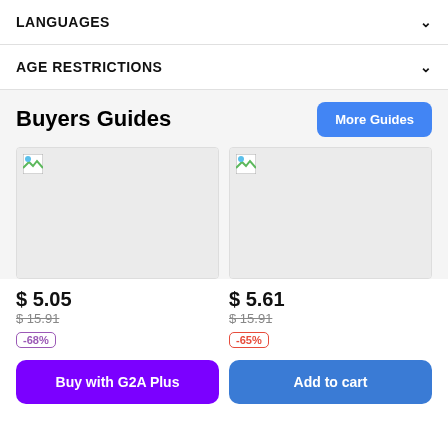LANGUAGES
AGE RESTRICTIONS
Buyers Guides
[Figure (other): Button: More Guides]
[Figure (photo): Left product image placeholder]
[Figure (photo): Right product image placeholder]
$ 5.05
$15.91
-68%
$ 5.61
$15.91
-65%
Buy with G2A Plus
Add to cart